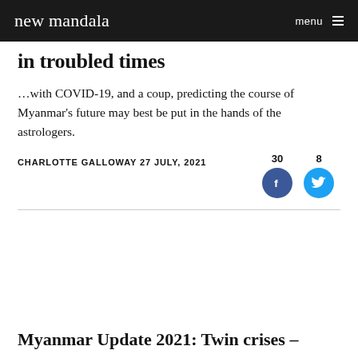new mandala  menu
in troubled times
…with COVID-19, and a coup, predicting the course of Myanmar's future may best be put in the hands of the astrologers.
CHARLOTTE GALLOWAY 27 JULY, 2021
Myanmar Update 2021: Twin crises –